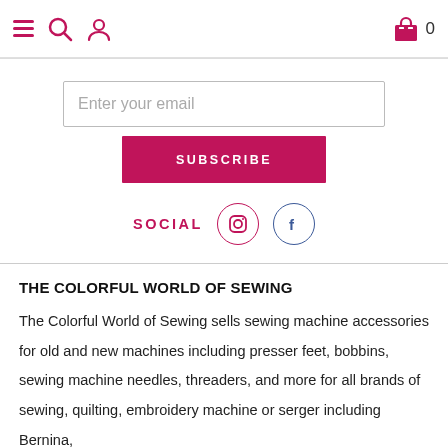Navigation header with hamburger menu, search, user, and cart icons
Enter your email
SUBSCRIBE
SOCIAL
THE COLORFUL WORLD OF SEWING
The Colorful World of Sewing sells sewing machine accessories for old and new machines including presser feet, bobbins, sewing machine needles, threaders, and more for all brands of sewing, quilting, embroidery machine or serger including Bernina, Pfaff, Husqvarna Viking, Janome, Elna, K...